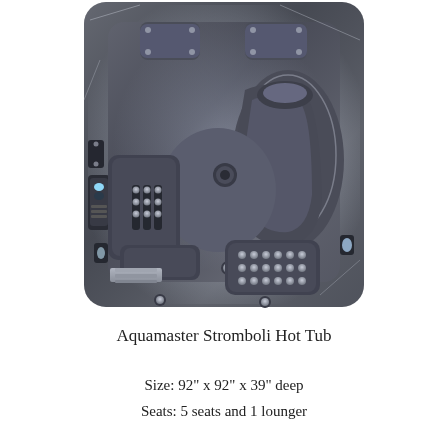[Figure (photo): Aerial top-down view of an Aquamaster Stromboli Hot Tub with dark graphite/charcoal shell, multiple jet seats and one lounger seat, multiple jets visible, control panel on left side, step entry at bottom left, photographed with plastic wrap still partially visible]
Aquamaster Stromboli Hot Tub
Size: 92" x 92" x 39" deep
Seats: 5 seats and 1 lounger